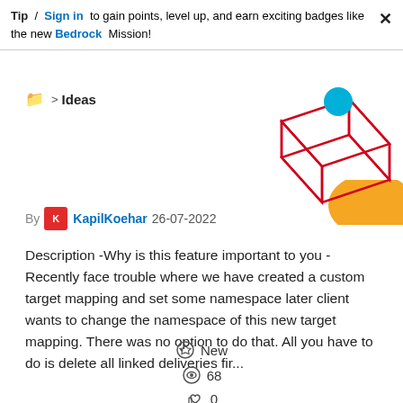Tip / Sign in to gain points, level up, and earn exciting badges like the new Bedrock Mission!
Ideas
[Figure (illustration): Geometric red wireframe cube/envelope shape with a teal blue circle and orange semicircle, decorative illustration]
By KapilKoehar 26-07-2022
Description -Why is this feature important to you - Recently face trouble where we have created a custom target mapping and set some namespace later client wants to change the namespace of this new target mapping. There was no option to do that. All you have to do is delete all linked deliveries fir...
New
68
0